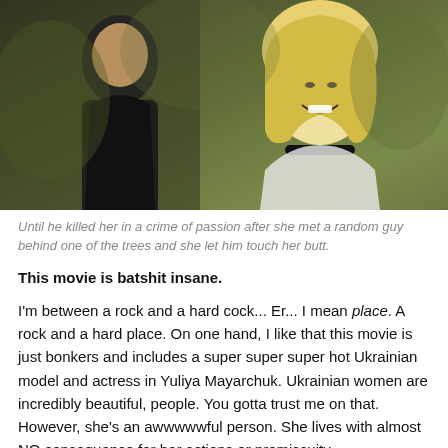[Figure (photo): Two people facing each other outdoors — a person in a dark jacket on the left and a blonde woman with a choker necklace smiling on the right, blurred green background.]
Until he killed her in a crime of passion after she met a random guy behind one of the trees and she let him touch her butt.
This movie is batshit insane.
I'm between a rock and a hard cock... Er... I mean place. A rock and a hard place. On one hand, I like that this movie is just bonkers and includes a super super super hot Ukrainian model and actress in Yuliya Mayarchuk. Ukrainian women are incredibly beautiful, people. You gotta trust me on that. However, she's an awwwwwful person. She lives with almost NO consequence for her actions or promiscuity.
I'm not a prude. A girl's gotta fuck, but come on, man... She's molested in